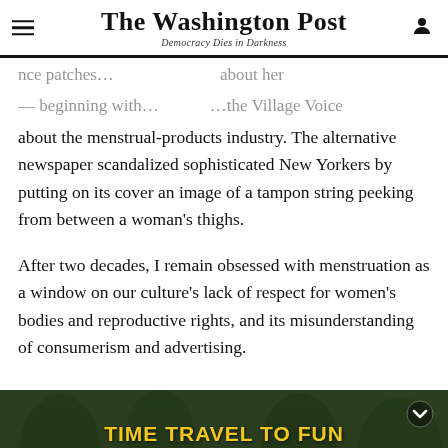The Washington Post — Democracy Dies in Darkness
about the menstrual-products industry. The alternative newspaper scandalized sophisticated New Yorkers by putting on its cover an image of a tampon string peeking from between a woman's thighs.
After two decades, I remain obsessed with menstruation as a window on our culture's lack of respect for women's bodies and reproductive rights, and its misunderstanding of consumerism and advertising.
[Figure (photo): Advertisement banner for Maryland Renaissance Festival with text overlay on a dark forest background with costumed figures. Text reads: TIME TRAVEL TO FUN / MARYLAND RENAISSANCE FESTIVAL OPENS SATURDAY! / ALL TICKETS SOLD ONLINE]